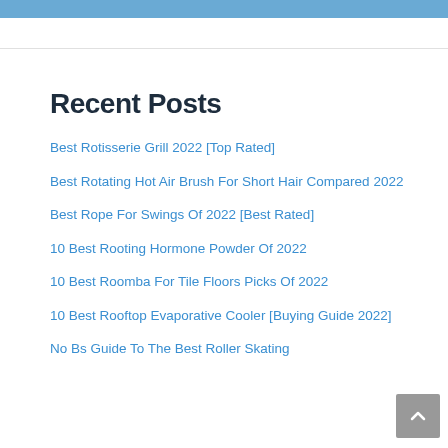Recent Posts
Best Rotisserie Grill 2022 [Top Rated]
Best Rotating Hot Air Brush For Short Hair Compared 2022
Best Rope For Swings Of 2022 [Best Rated]
10 Best Rooting Hormone Powder Of 2022
10 Best Roomba For Tile Floors Picks Of 2022
10 Best Rooftop Evaporative Cooler [Buying Guide 2022]
No Bs Guide To The Best Roller Skating